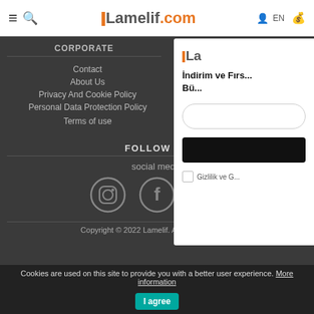Lamelif.com — navigation header with hamburger, search, logo, EN, cart icons
CORPORATE
HELP
Contact
About Us
Privacy And Cookie Policy
Personal Data Protection Policy
Terms of use
Membership in...
Delivery and...
Genera...
FOLLOW US
social media
[Figure (illustration): Social media icons: Instagram, Facebook, YouTube]
Copyright © 2022 Lamelif. All rights reserved
[Figure (screenshot): Newsletter signup popup with logo, title 'İndirim ve Fırs... Bü...', email input, subscribe button, and Gizlilik ve G... checkbox]
Cookies are used on this site to provide you with a better user experience. More information  I agree